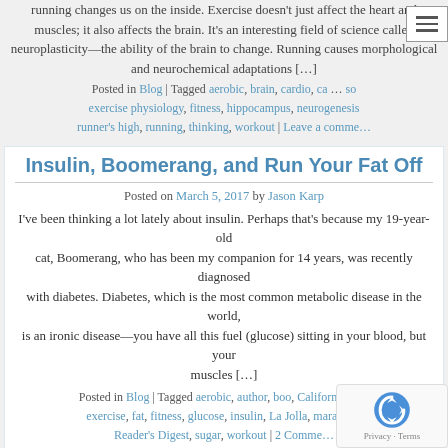running changes us on the inside. Exercise doesn't just affect the heart and muscles; it also affects the brain. It's an interesting field of science called neuroplasticity—the ability of the brain to change. Running causes morphological and neurochemical adaptations […]
Posted in Blog | Tagged aerobic, brain, cardio, ca…, exercise physiology, fitness, hippocampus, neurogenesis, runner's high, running, thinking, workout | Leave a comme…
Insulin, Boomerang, and Run Your Fat Off
Posted on March 5, 2017 by Jason Karp
I've been thinking a lot lately about insulin. Perhaps that's because my 19-year-old cat, Boomerang, who has been my companion for 14 years, was recently diagnosed with diabetes. Diabetes, which is the most common metabolic disease in the world, is an ironic disease—you have all this fuel (glucose) sitting in your blood, but your muscles […]
Posted in Blog | Tagged aerobic, author, boo, California, c…, exercise, fat, fitness, glucose, insulin, La Jolla, marathon, Reader's Digest, sugar, workout | 2 Comme…
Einstein, Pyruvate, and Simplicity